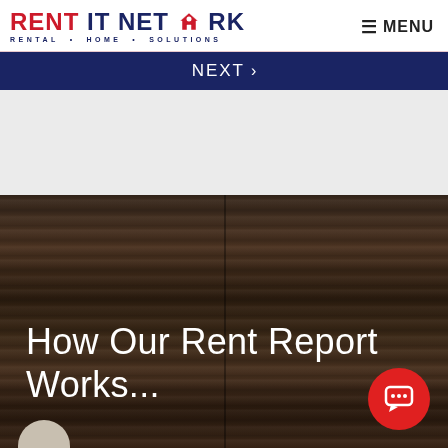RENT IT NETWORK — RENTAL • HOME • SOLUTIONS
≡ MENU
NEXT ›
How Our Rent Report Works...